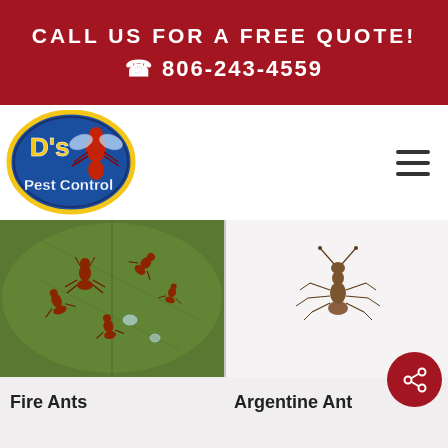CALL US FOR A FREE QUOTE!
☎ 806-243-4559
[Figure (logo): D's Pest Control logo — blue oval with yellow outline, cartoon red ant mascot with wings, text 'D's' and 'Pest Control' in yellow and white lettering]
[Figure (photo): Close-up photo of several fire ants on a green leaf surface with water droplets]
[Figure (photo): Photo of a single Argentine ant on a white background, shown in profile]
Fire Ants
Argentine Ant